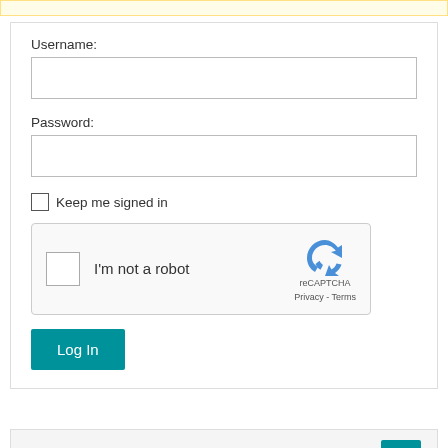[Figure (screenshot): Yellow highlighted notification bar at top of page]
Username:
[Figure (screenshot): Username text input field]
Password:
[Figure (screenshot): Password text input field]
Keep me signed in
[Figure (screenshot): reCAPTCHA widget - I'm not a robot checkbox with reCAPTCHA logo, Privacy and Terms links]
[Figure (screenshot): Log In button (teal/green)]
NEWS
Zeroshell End of Life